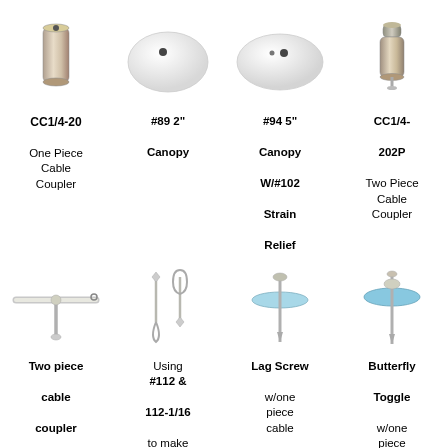[Figure (photo): CC1/4-20 One Piece Cable Coupler - cylindrical metal fitting]
[Figure (photo): #89 2-inch white circular canopy]
[Figure (photo): #94 5-inch white oval canopy with #102 strain relief]
[Figure (photo): CC1/4-202P Two Piece Cable Coupler - metal fitting]
CC1/4-20
One Piece Cable Coupler
#89 2" Canopy
#94 5" Canopy W/#102 Strain Relief
CC1/4-202P
Two Piece Cable Coupler
[Figure (photo): Two piece cable coupler assembly - T-shaped metal connector]
[Figure (photo): Using #112 & 112-1/16 small hook and loop hardware pieces]
[Figure (photo): Lag Screw with one piece cable coupler]
[Figure (photo): Butterfly Toggle with one piece cable coupler]
Two piece cable coupler assembly
Using #112 & 112-1/16 to make
Lag Screw w/one piece cable
Butterfly Toggle w/one piece